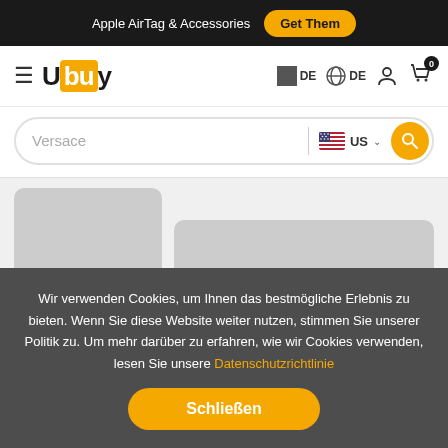Apple AirTag & Accessories  Get Them
[Figure (logo): Ubuy logo with yellow background on 'bu' letters]
DE  DE
[Figure (screenshot): Search bar with 'Versace' query and US country selector]
[Figure (other): Loading skeleton placeholder cards for product listings]
Wir verwenden Cookies, um Ihnen das bestmögliche Erlebnis zu bieten. Wenn Sie diese Website weiter nutzen, stimmen Sie unserer Politik zu. Um mehr darüber zu erfahren, wie wir Cookies verwenden, lesen Sie unsere Datenschutzrichtlinie
Schließen